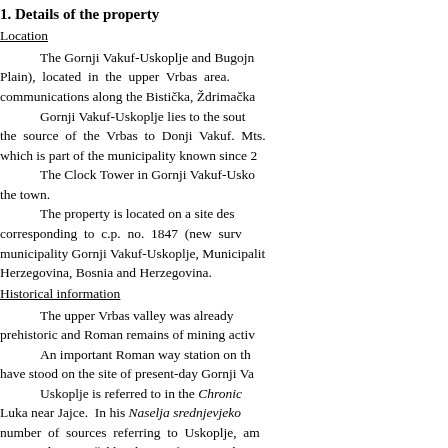1. Details of the property
Location
The Gornji Vakuf-Uskoplje and Bugojno municipalities lie in the Vrbas Plain), located in the upper Vrbas area. communications along the Bistička, Ždrimačka
Gornji Vakuf-Uskoplje lies to the south the source of the Vrbas to Donji Vakuf. Mts. which is part of the municipality known since 2
The Clock Tower in Gornji Vakuf-Usko the town.
The property is located on a site des corresponding to c.p. no. 1847 (new surv municipality Gornji Vakuf-Uskoplje, Municipality Herzegovina, Bosnia and Herzegovina.
Historical information
The upper Vrbas valley was already prehistoric and Roman remains of mining activ
An important Roman way station on th have stood on the site of present-day Gornji Va
Uskoplje is referred to in the Chronicle Luka near Jajce. In his Naselja srednjevjeko number of sources referring to Uskoplje, amo 1446 to the Dragišić brothers, referring to the v
The forts of Susjed, Vesela straža and around the upper Vrbas. In mediaeval times th from Split and the river Laška and Bosna valley
There are 34 necropolises with about town, mainly chest-shaped tombstones.(6)
As an urban settlement, Gornji Vaku